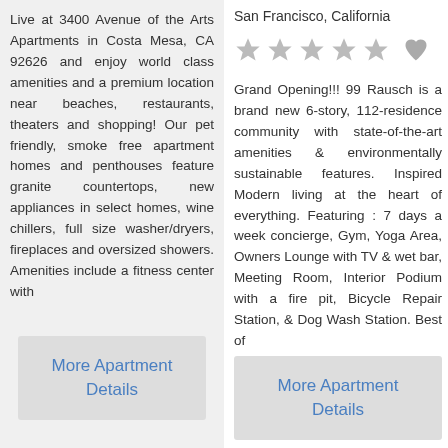Live at 3400 Avenue of the Arts Apartments in Costa Mesa, CA 92626 and enjoy world class amenities and a premium location near beaches, restaurants, theaters and shopping! Our pet friendly, smoke free apartment homes and penthouses feature granite countertops, new appliances in select homes, wine chillers, full size washer/dryers, fireplaces and oversized showers. Amenities include a fitness center with
More Apartment Details
San Francisco, California
Grand Opening!!! 99 Rausch is a brand new 6-story, 112-residence community with state-of-the-art amenities & environmentally sustainable features. Inspired Modern living at the heart of everything. Featuring : 7 days a week concierge, Gym, Yoga Area, Owners Lounge with TV & wet bar, Meeting Room, Interior Podium with a fire pit, Bicycle Repair Station, & Dog Wash Station. Best of
More Apartment Details